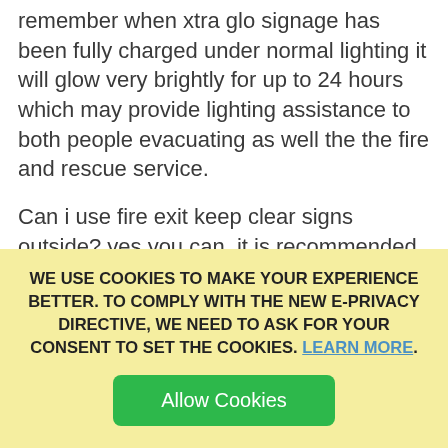remember when xtra glo signage has been fully charged under normal lighting it will glow very brightly for up to 24 hours which may provide lighting assistance to both people evacuating as well the the fire and rescue service.
Can i use fire exit keep clear signs outside? yes you can, it is recommended that fire exit keep clear signs be mounted and displayed on the exterior of fire doors and by doing this your letting others know it is a fire exit, for example if the fire exit opens up onto a car park you don't want cars blocking the door to stop it
WE USE COOKIES TO MAKE YOUR EXPERIENCE BETTER. TO COMPLY WITH THE NEW E-PRIVACY DIRECTIVE, WE NEED TO ASK FOR YOUR CONSENT TO SET THE COOKIES. LEARN MORE. Allow Cookies